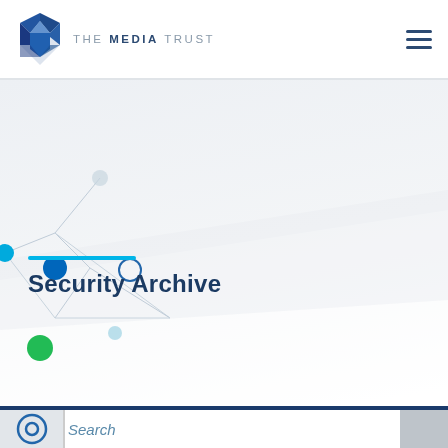[Figure (logo): The Media Trust logo — blue shield/diamond icon with stylized '4H' shapes, with text 'THE MEDIA TRUST' to the right]
Security Archive
Search